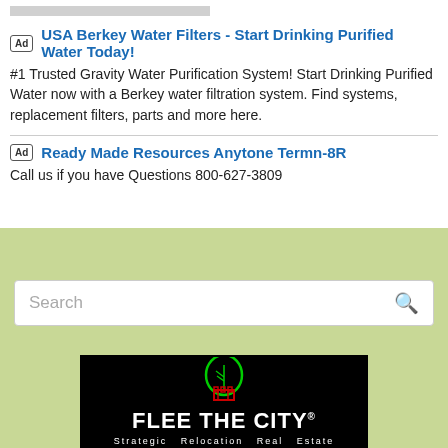[Figure (other): Gray placeholder bar at top of page]
Ad  USA Berkey Water Filters - Start Drinking Purified Water Today!
#1 Trusted Gravity Water Purification System! Start Drinking Purified Water now with a Berkey water filtration system. Find systems, replacement filters, parts and more here.
Ad  Ready Made Resources Anytone Termn-8R
Call us if you have Questions 800-627-3809
[Figure (screenshot): Search bar with placeholder text 'Search' and magnifying glass icon on a light green background]
[Figure (logo): Flee The City logo - black background with neon green leaf/castle icon and white text 'FLEE THE CITY Strategic Relocation Real Estate']